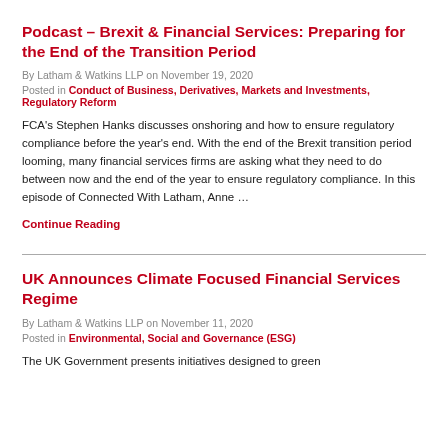Podcast – Brexit & Financial Services: Preparing for the End of the Transition Period
By Latham & Watkins LLP on November 19, 2020
Posted in Conduct of Business, Derivatives, Markets and Investments, Regulatory Reform
FCA's Stephen Hanks discusses onshoring and how to ensure regulatory compliance before the year's end. With the end of the Brexit transition period looming, many financial services firms are asking what they need to do between now and the end of the year to ensure regulatory compliance. In this episode of Connected With Latham, Anne …
Continue Reading
UK Announces Climate Focused Financial Services Regime
By Latham & Watkins LLP on November 11, 2020
Posted in Environmental, Social and Governance (ESG)
The UK Government presents initiatives designed to green